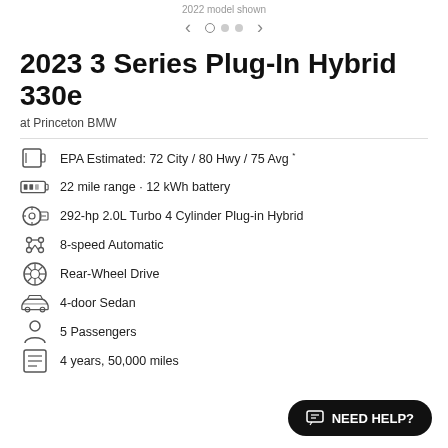2022 model shown
2023 3 Series Plug-In Hybrid 330e
at Princeton BMW
EPA Estimated: 72 City / 80 Hwy / 75 Avg *
22 mile range · 12 kWh battery
292-hp 2.0L Turbo 4 Cylinder Plug-in Hybrid
8-speed Automatic
Rear-Wheel Drive
4-door Sedan
5 Passengers
4 years, 50,000 miles